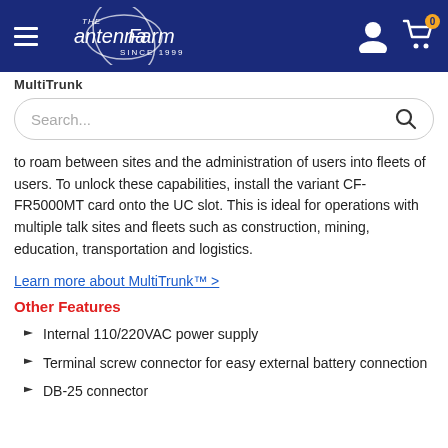The Antenna Farm - Since 1999
MultiTrunk
to roam between sites and the administration of users into fleets of users. To unlock these capabilities, install the variant CF-FR5000MT card onto the UC slot. This is ideal for operations with multiple talk sites and fleets such as construction, mining, education, transportation and logistics.
Learn more about MultiTrunk™ >
Other Features
Internal 110/220VAC power supply
Terminal screw connector for easy external battery connection
DB-25 connector